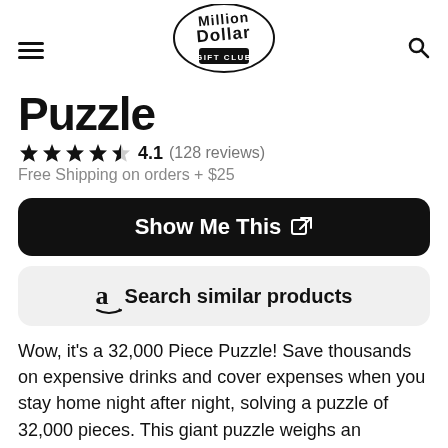Million Dollar Gift Club
Puzzle
4.1 (128 reviews)
Free Shipping on orders + $25
Show Me This
Search similar products
Wow, it's a 32,000 Piece Puzzle! Save thousands on expensive drinks and cover expenses when you stay home night after night, solving a puzzle of 32,000 pieces. This giant puzzle weighs an impressive 42 pounds and covers an area of 17 x 6 feet